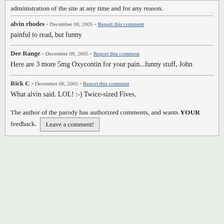administration of the site at any time and for any reason.
alvin rhodes - December 08, 2005 - Report this comment
painful to read, but funny
Dee Range - December 08, 2005 - Report this comment
Here are 3 more 5mg Oxycontin for your pain...funny stuff, John
Rick C - December 08, 2005 - Report this comment
What alvin said. LOL! :-) Twice-sized Fives.
The author of the parody has authorized comments, and wants YOUR feedback. Leave a comment!